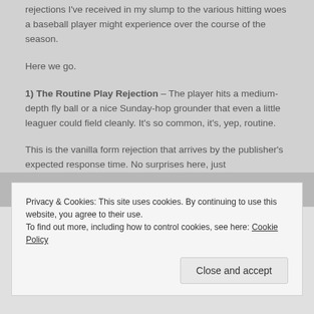rejections I've received in my slump to the various hitting woes a baseball player might experience over the course of the season.
Here we go.
1) The Routine Play Rejection – The player hits a medium-depth fly ball or a nice Sunday-hop grounder that even a little leaguer could field cleanly. It's so common, it's, yep, routine.
This is the vanilla form rejection that arrives by the publisher's expected response time. No surprises here, just
Privacy & Cookies: This site uses cookies. By continuing to use this website, you agree to their use.
To find out more, including how to control cookies, see here: Cookie Policy
Close and accept